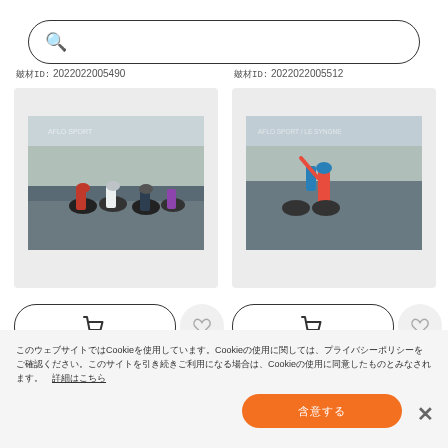[Figure (screenshot): Search bar with magnifier icon and placeholder text in Japanese/Asian characters]
素材ID: 2022022005490
素材ID: 2022022005512
[Figure (photo): Cyclists racing at finish line, crowd in background]
[Figure (photo): Cyclist celebrating victory with arm raised, crowd in background]
カートに追加ボタン (left)
お気に入りボタン (left)
カートに追加ボタン (right)
お気に入りボタン (right)
このウェブサイトではCookieを使用しています。Cookieの使用に関しては、プライバシーポリシーをご確認ください。このサイトを引き続きご利用になる場合は、Cookieの使用に同意したものとみなされます。 詳細はこちら
同意する